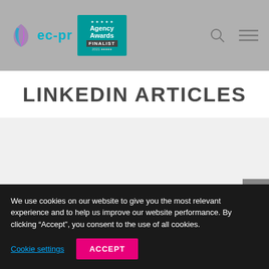ec-pr Agency Awards FINALIST 2021
LINKEDIN ARTICLES
[Figure (other): Gray content area placeholder below the title]
We use cookies on our website to give you the most relevant experience and to help us improve our website performance. By clicking “Accept”, you consent to the use of all cookies.
Cookie settings   ACCEPT